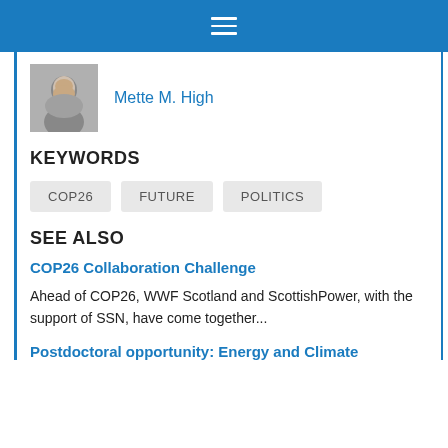Navigation bar with hamburger menu
[Figure (photo): Portrait photo of Mette M. High, a woman with light hair]
Mette M. High
KEYWORDS
COP26
FUTURE
POLITICS
SEE ALSO
COP26 Collaboration Challenge
Ahead of COP26, WWF Scotland and ScottishPower, with the support of SSN, have come together...
Postdoctoral opportunity: Energy and Climate